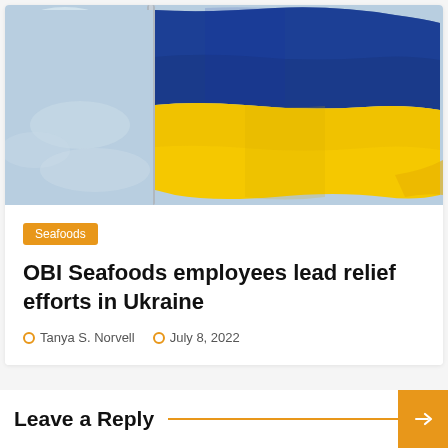[Figure (photo): Ukrainian flag waving on a flagpole against a blue sky with clouds — top half blue, bottom half yellow]
Seafoods
OBI Seafoods employees lead relief efforts in Ukraine
Tanya S. Norvell   July 8, 2022
Leave a Reply